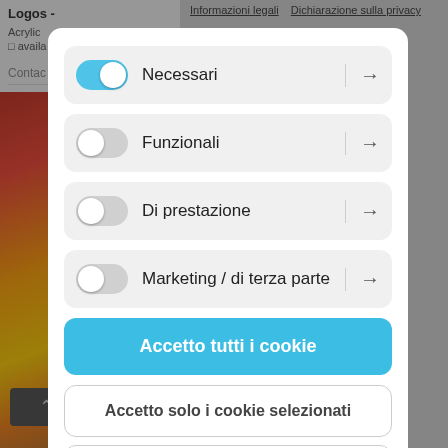[Figure (screenshot): Cookie consent modal overlay on an Italian website. Background shows partial website content with text 'Logos', 'Acrylic', 'available', 'Contact', links 'Informazioni legali' and 'Dichiarazione sulla privacy', and a painting image. The modal has four toggle rows: Necessari (on/blue), Funzionali (off), Di prestazione (off), Marketing / di terza parte (off), each with an arrow. Below are three buttons: 'Accetto tutti i cookie' (blue), 'Accetto solo i cookie selezionati' (white), 'Rifiuto tutti i cookie' (white).]